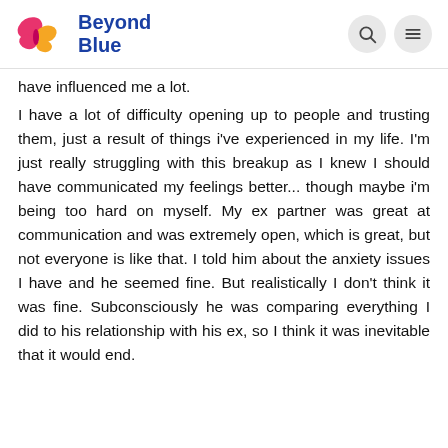Beyond Blue
have influenced me a lot.

I have a lot of difficulty opening up to people and trusting them, just a result of things i've experienced in my life. I'm just really struggling with this breakup as I knew I should have communicated my feelings better... though maybe i'm being too hard on myself. My ex partner was great at communication and was extremely open, which is great, but not everyone is like that. I told him about the anxiety issues I have and he seemed fine. But realistically I don't think it was fine. Subconsciously he was comparing everything I did to his relationship with his ex, so I think it was inevitable that it would end.